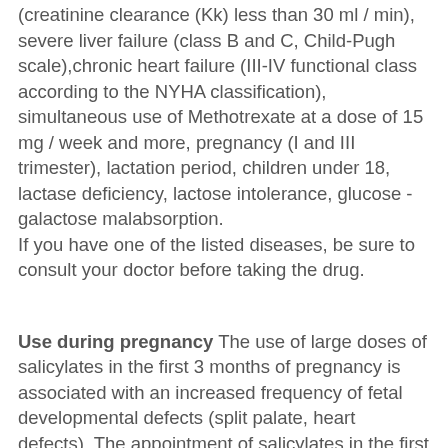(creatinine clearance (Kk) less than 30 ml / min), severe liver failure (class B and C, Child-Pugh scale),chronic heart failure (III-IV functional class according to the NYHA classification), simultaneous use of Methotrexate at a dose of 15 mg / week and more, pregnancy (I and III trimester), lactation period, children under 18, lactase deficiency, lactose intolerance, glucose -galactose malabsorption. If you have one of the listed diseases, be sure to consult your doctor before taking the drug.
Use during pregnancy The use of large doses of salicylates in the first 3 months of pregnancy is associated with an increased frequency of fetal developmental defects (split palate, heart defects). The appointment of salicylates in the first trimester of pregnancy is contraindicated. In the II trimester of pregnancy, salicylates can be prescribed only with a rigorous assessment of the risk to the fetus and benefit to the mother, preferably in doses not higher than 150 mg / day and not for long. In the last trimester of pregnancy, high dose...